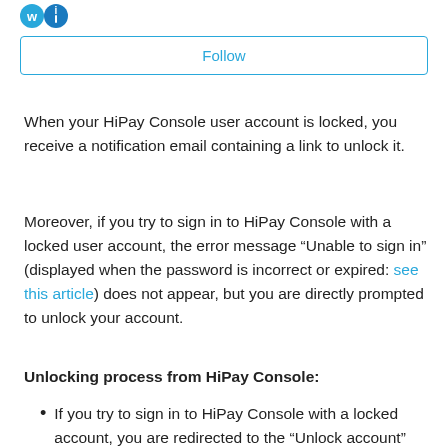[Figure (logo): HiPay logo icons in blue, two circular icons]
Follow
When your HiPay Console user account is locked, you receive a notification email containing a link to unlock it.
Moreover, if you try to sign in to HiPay Console with a locked user account, the error message “Unable to sign in” (displayed when the password is incorrect or expired: see this article) does not appear, but you are directly prompted to unlock your account.
Unlocking process from HiPay Console:
If you try to sign in to HiPay Console with a locked account, you are redirected to the “Unlock account”